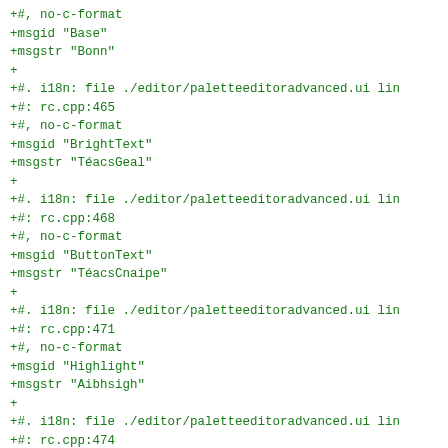+#, no-c-format
+msgid "Base"
+msgstr "Bonn"
+
+#. i18n: file ./editor/paletteeditoradvanced.ui lin
+#: rc.cpp:465
+#, no-c-format
+msgid "BrightText"
+msgstr "TéacsGeal"
+
+#. i18n: file ./editor/paletteeditoradvanced.ui lin
+#: rc.cpp:468
+#, no-c-format
+msgid "ButtonText"
+msgstr "TéacsCnaipe"
+
+#. i18n: file ./editor/paletteeditoradvanced.ui lin
+#: rc.cpp:471
+#, no-c-format
+msgid "Highlight"
+msgstr "Aibhsigh"
+
+#. i18n: file ./editor/paletteeditoradvanced.ui lin
+#: rc.cpp:474
+#, no-c-format
+msgid "HighlightText"
+msgstr ""
+
+#. i18n: file ./editor/paletteeditoradvanced.ui lin
+#: rc.cpp:477